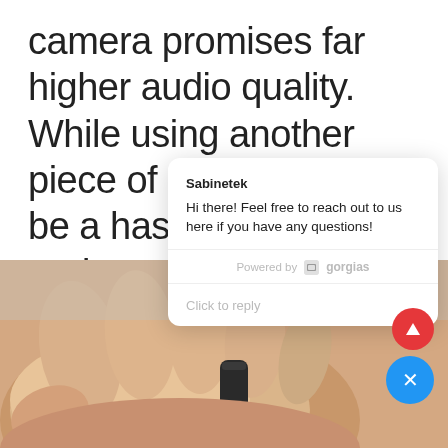camera promises far higher audio quality. While using another piece of hardware can be a hassle the size and ease of use of the SmartMike+ incredibly e
[Figure (screenshot): A chat popup overlay from Sabinetek/Gorgias showing: sender 'Sabinetek', message 'Hi there! Feel free to reach out to us here if you have any questions!', powered by gorgias branding, and a 'Click to reply' input field.]
[Figure (photo): A hand holding a small black microphone device (SmartMike+) against a light background. A red upward-arrow button and blue X button are overlaid in the bottom-right corner.]